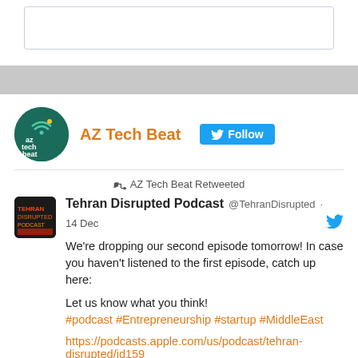[Figure (screenshot): Top input box area with border]
[Figure (other): Gray horizontal bar]
AZ Tech Beat Follow
AZ Tech Beat Retweeted
Tehran Disrupted Podcast @TehranDisrupted · 14 Dec
We're dropping our second episode tomorrow! In case you haven't listened to the first episode, catch up here:

Let us know what you think!
#podcast #Entrepreneurship #startup #MiddleEast

https://podcasts.apple.com/us/podcast/tehran-disrupted/id159